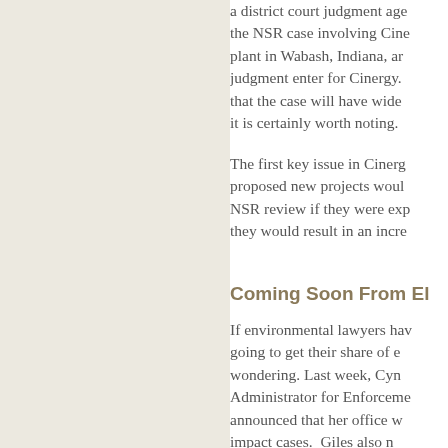a district court judgment against the NSR case involving Cinergy plant in Wabash, Indiana, and judgment enter for Cinergy. that the case will have wide it is certainly worth noting.
The first key issue in Cinergy proposed new projects would NSR review if they were exp they would result in an incre
Coming Soon From El
If environmental lawyers hav going to get their share of e wondering. Last week, Cyn Administrator for Enforceme announced that her office w impact cases. Giles also n